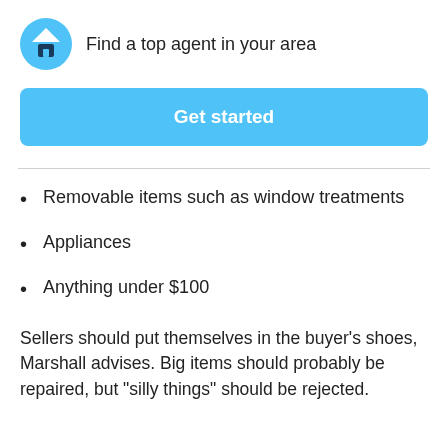Find a top agent in your area
Get started
Removable items such as window treatments
Appliances
Anything under $100
Sellers should put themselves in the buyer’s shoes, Marshall advises. Big items should probably be repaired, but “silly things” should be rejected.